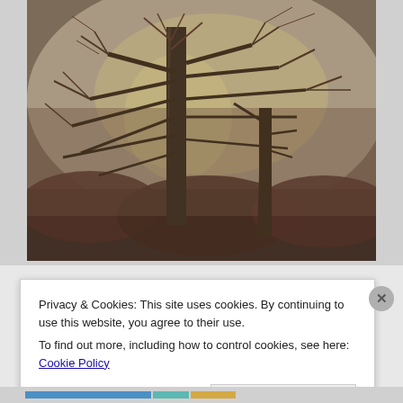[Figure (illustration): A Romantic-era oil painting showing large bare trees with intertwining branches against a misty, grey-beige sky. The trees dominate the foreground; the background has dark reddish-brown foliage and a hint of a setting or rising sun glowing through the mist behind the trunk. The mood is atmospheric and melancholic.]
Privacy & Cookies: This site uses cookies. By continuing to use this website, you agree to their use.
To find out more, including how to control cookies, see here: Cookie Policy